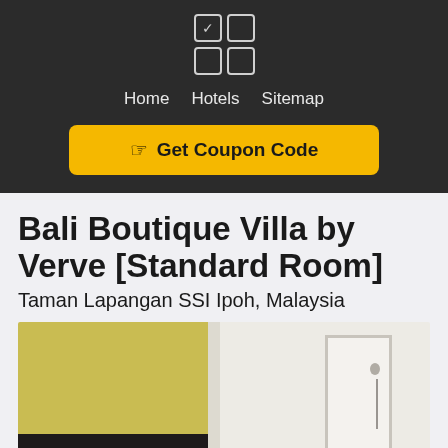Home  Hotels  Sitemap
Get Coupon Code
Bali Boutique Villa by Verve [Standard Room]
Taman Lapangan SSI Ipoh, Malaysia
[Figure (photo): Hotel room photo showing a bedroom with yellow wall on the left and white bathroom/shower area on the right]